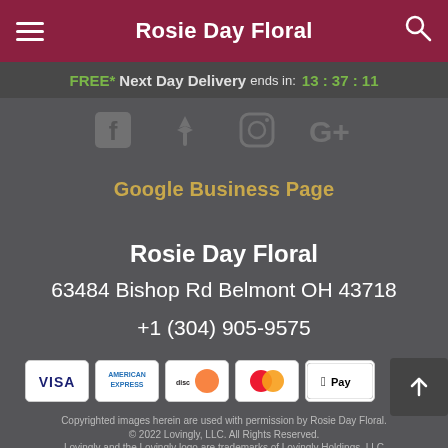Rosie Day Floral
FREE* Next Day Delivery ends in: 13:37:11
[Figure (other): Social media icons: Facebook, Yelp, Instagram, Google+]
Google Business Page
Rosie Day Floral
63484 Bishop Rd Belmont OH 43718
+1 (304) 905-9575
[Figure (other): Payment method icons: VISA, American Express, Discover, MasterCard, Apple Pay]
Copyrighted images herein are used with permission by Rosie Day Floral. © 2022 Lovingly, LLC. All Rights Reserved. Lovingly and the Lovingly logo are trademarks of Lovingly Holdings, LLC